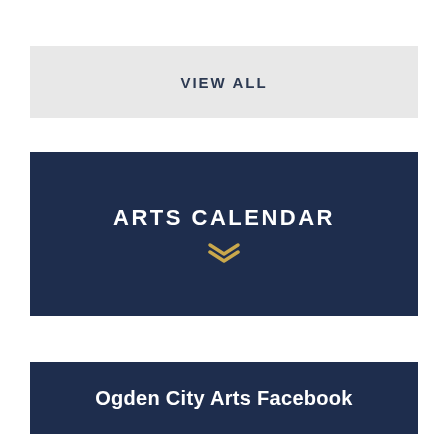VIEW ALL
ARTS CALENDAR
Ogden City Arts Facebook